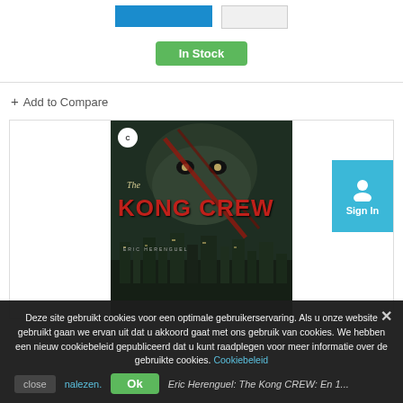[Figure (screenshot): Blue button and gray button side by side at top of page]
In Stock
+ Add to Compare
[Figure (photo): Book cover of 'The Kong Crew' by Eric Herenguel showing a giant ape over a city skyline]
[Figure (screenshot): Sign In button (teal/cyan) with user icon on right side]
Deze site gebruikt cookies voor een optimale gebruikerservaring. Als u onze website gebruikt gaan we ervan uit dat u akkoord gaat met ons gebruik van cookies. We hebben een nieuw cookiebeleid gepubliceerd dat u kunt raadplegen voor meer informatie over de gebruikte cookies. Cookiebeleid nalezen.
close
Ok
Eric Herenguel: The Kong CREW: En 1...